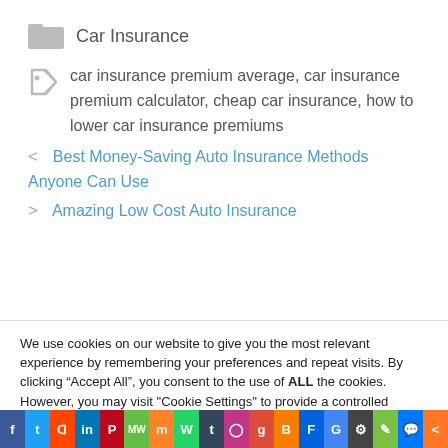Car Insurance
car insurance premium average, car insurance premium calculator, cheap car insurance, how to lower car insurance premiums
< Best Money-Saving Auto Insurance Methods Anyone Can Use
> Amazing Low Cost Auto Insurance
We use cookies on our website to give you the most relevant experience by remembering your preferences and repeat visits. By clicking “Accept All”, you consent to the use of ALL the cookies. However, you may visit "Cookie Settings" to provide a controlled consent.